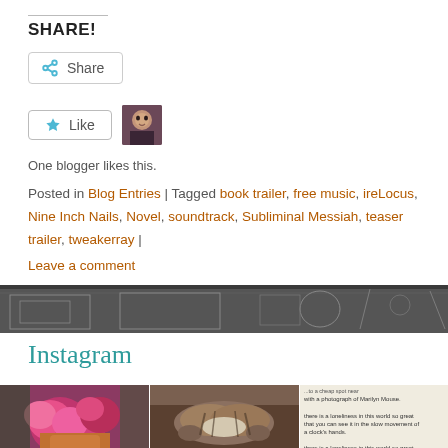SHARE!
[Figure (screenshot): Share button with share icon]
[Figure (screenshot): Like button with star icon and user avatar thumbnail]
One blogger likes this.
Posted in Blog Entries | Tagged book trailer, free music, ireLocus, Nine Inch Nails, Novel, soundtrack, Subliminal Messiah, teaser trailer, tweakerray |
Leave a comment
[Figure (illustration): Dark banner with sketch/line-art illustration]
Instagram
[Figure (photo): Photo of pink orchid flowers in a pot]
[Figure (photo): Photo of a striped cat lying on its back]
[Figure (photo): Photo of printed book text with Bukowski-style poetry about loneliness]